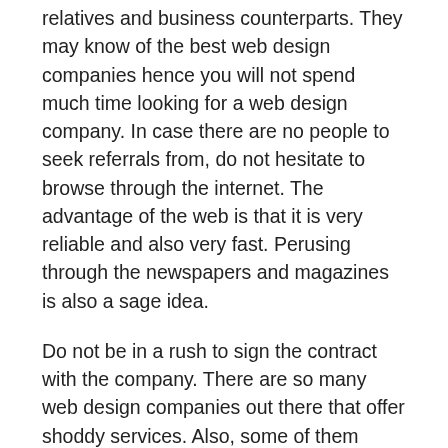relatives and business counterparts. They may know of the best web design companies hence you will not spend much time looking for a web design company. In case there are no people to seek referrals from, do not hesitate to browse through the internet. The advantage of the web is that it is very reliable and also very fast. Perusing through the newspapers and magazines is also a sage idea.
Do not be in a rush to sign the contract with the company. There are so many web design companies out there that offer shoddy services. Also, some of them have very bad track records. That gives you more reasons why you need to get deeper into knowing about the web design company's reputation. There is no harm in perusing through the website of the web design company and read the reviews posted by the previous clients. You can also consider to go through the track records of the web design